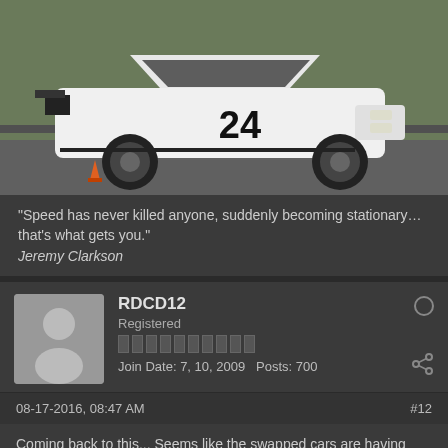[Figure (photo): White BMW E30 M3 race car with number 24 on a racing track with orange cones visible]
“Speed has never killed anyone, suddenly becoming stationary… that’s what gets you.”
Jeremy Clarkson
RDCD12
Registered
Join Date: 7, 10, 2009  Posts: 700
08-17-2016, 08:47 AM
#12
Coming back to this... Seems like the swapped cars are having their value parked and the S14’s are firming up.